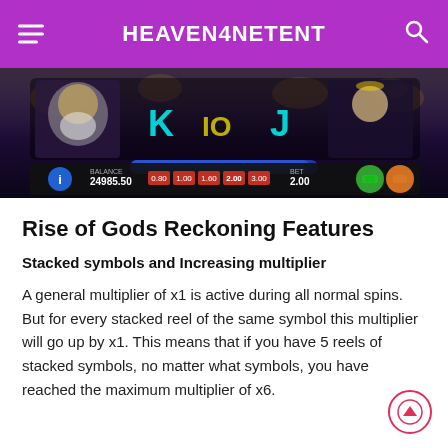HEAVEN4NETENT
[Figure (screenshot): Rise of Gods Reckoning slot game screenshot showing reels with K, 10, J symbols, Zeus and another character, with game UI including balance 24985.50 and bet 2.00]
Rise of Gods Reckoning Features
Stacked symbols and Increasing multiplier
A general multiplier of x1 is active during all normal spins. But for every stacked reel of the same symbol this multiplier will go up by x1. This means that if you have 5 reels of stacked symbols, no matter what symbols, you have reached the maximum multiplier of x6.